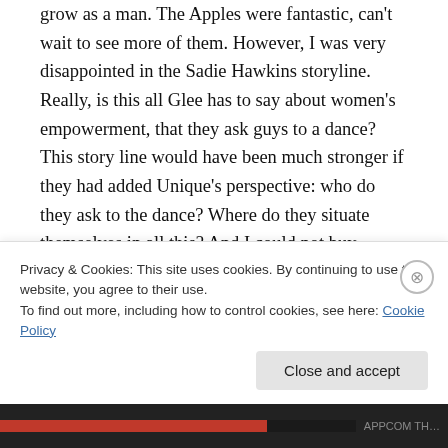grow as a man. The Apples were fantastic, can't wait to see more of them. However, I was very disappointed in the Sadie Hawkins storyline. Really, is this all Glee has to say about women's empowerment, that they ask guys to a dance? This story line would have been much stronger if they had added Unique's perspective: who do they ask to the dance? Where do they situate themselves in all this? And I could not buy Lauren Zizes as a wallflower, nor could I buy how she and Puck would not notice each other
Privacy & Cookies: This site uses cookies. By continuing to use this website, you agree to their use.
To find out more, including how to control cookies, see here: Cookie Policy
Close and accept